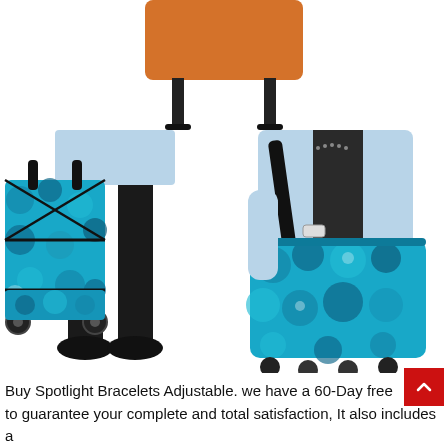[Figure (photo): Top portion of an orange stool with black legs visible at the top center of the page]
[Figure (photo): Left image: A woman in a light blue dress and black tights holding a blue floral wheeled shopping trolley bag on a white background. Right image: A woman in a light blue cardigan carrying the same blue floral bag as a shoulder tote bag, showing the bag's wheels at the bottom.]
Buy Spotlight Bracelets Adjustable. we have a 60-Day free return to guarantee your complete and total satisfaction, It also includes a